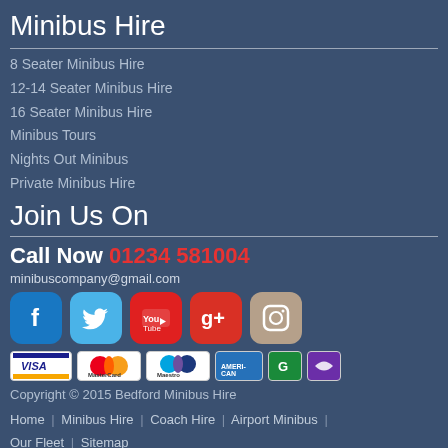Minibus Hire
8 Seater Minibus Hire
12-14 Seater Minibus Hire
16 Seater Minibus Hire
Minibus Tours
Nights Out Minibus
Private Minibus Hire
Join Us On
Call Now 01234 581004
minibuscompany@gmail.com
[Figure (infographic): Social media icons: Facebook, Twitter, YouTube, Google+, Instagram]
[Figure (infographic): Payment method logos: Visa, MasterCard, Maestro, American Express, and two others]
Copyright © 2015 Bedford Minibus Hire
Home | Minibus Hire | Coach Hire | Airport Minibus | Our Fleet | Sitemap